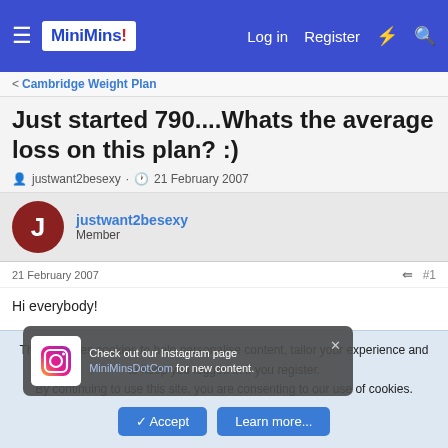MiniMins | Log in | Register
< Cambridge Weight Plan
Just started 790....Whats the average loss on this plan? :)
justwant2besexy · 21 February 2007
justwant2besexy
Member
21 February 2007  #1
Hi everybody!
[Figure (screenshot): Instagram popup overlay saying: Check out our Instagram page MiniMinsDotCom for new content.]
Nice to mee you all. Im Kendra, and i have just started 790.
This site uses cookies to help personalise content, tailor your experience and to keep you logged in if you register.
By continuing to use this site, you are consenting to our use of cookies.
✓ Accept  Learn more...